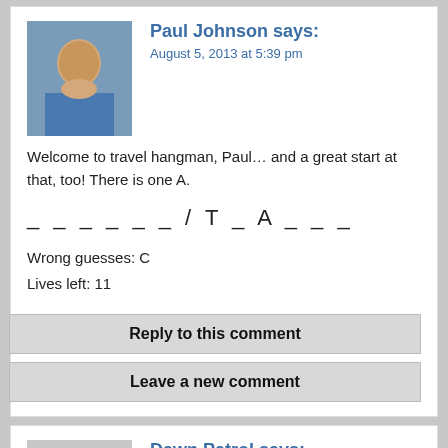Paul Johnson says:
August 5, 2013 at 5:39 pm
Welcome to travel hangman, Paul… and a great start at that, too! There is one A.
_ _ _ _ _ _ / T _ A _ _ _
Wrong guesses: C
Lives left: 11
Reply to this comment
Leave a new comment
Dawn Patrol says:
August 6, 2013 at 4:08 pm
Thanks for the coordinates Paul. The new place looks great, and I love the new scaffolding. I found a nice secluded spot for the anti-